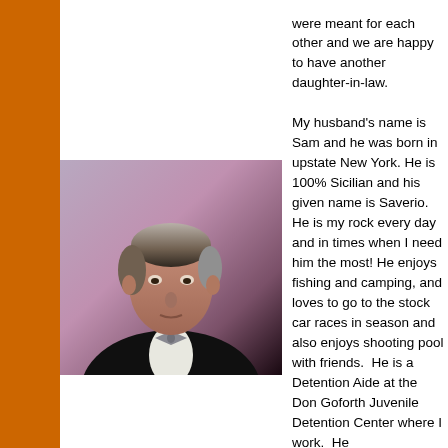[Figure (photo): Portrait photo of an older man with gray hair wearing a tuxedo with bow tie, against a purple/pink background]
were meant for each other and we are happy to have another daughter-in-law.

My husband's name is Sam and he was born in upstate New York. He is 100% Sicilian and his given name is Saverio. He is my rock every day and in times when I need him the most! He enjoys fishing and camping, and loves to go to the stock car races in season and also enjoys shooting pool with friends.  He is a Detention Aide at the Don Goforth Juvenile Detention Center where I work.  He